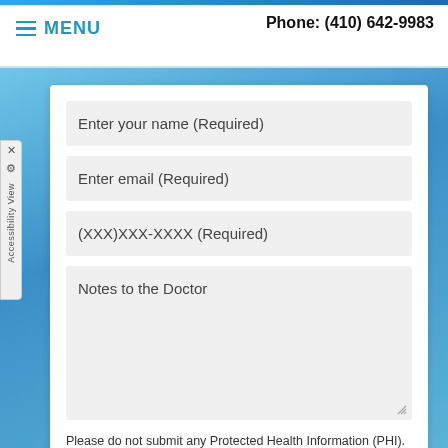Phone: (410) 642-9983 | MENU
Enter your name (Required)
Enter email (Required)
(XXX)XXX-XXXX (Required)
Notes to the Doctor
Please do not submit any Protected Health Information (PHI).